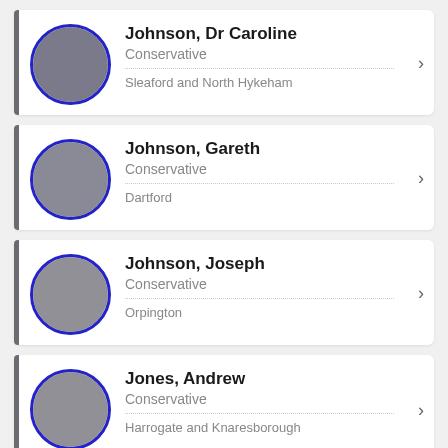Johnson, Dr Caroline | Conservative | Sleaford and North Hykeham
Johnson, Gareth | Conservative | Dartford
Johnson, Joseph | Conservative | Orpington
Jones, Andrew | Conservative | Harrogate and Knaresborough